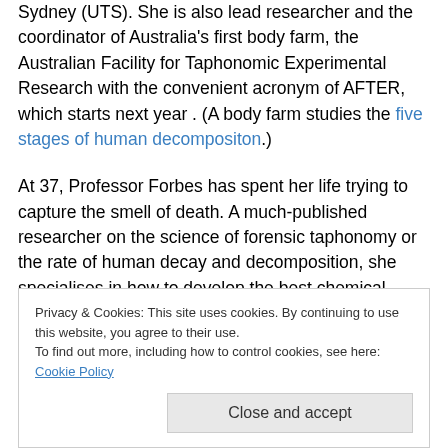Sydney (UTS). She is also lead researcher and the coordinator of Australia's first body farm, the Australian Facility for Taphonomic Experimental Research with the convenient acronym of AFTER, which starts next year . (A body farm studies the five stages of human decompositon.)
At 37, Professor Forbes has spent her life trying to capture the smell of death. A much-published researcher on the science of forensic taphonomy or the rate of human decay and decomposition, she specialises in how to develop the best chemical representations of these odours so sniffer
Privacy & Cookies: This site uses cookies. By continuing to use this website, you agree to their use. To find out more, including how to control cookies, see here: Cookie Policy